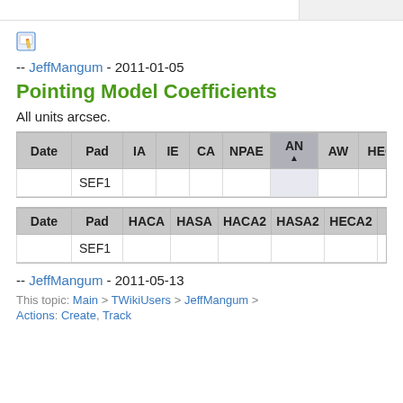[Figure (illustration): Edit pencil icon (small wiki edit icon)]
-- JeffMangum - 2011-01-05
Pointing Model Coefficients
All units arcsec.
| Date | Pad | IA | IE | CA | NPAE | AN | AW | HECE | HESE |
| --- | --- | --- | --- | --- | --- | --- | --- | --- | --- |
|  | SEF1 |  |  |  |  |  |  |  |  |
| Date | Pad | HACA | HASA | HACA2 | HASA2 | HECA2 | HE... |
| --- | --- | --- | --- | --- | --- | --- | --- |
|  | SEF1 |  |  |  |  |  |  |
-- JeffMangum - 2011-05-13
This topic: Main > TWikiUsers > JeffMangum >
Actions: ...